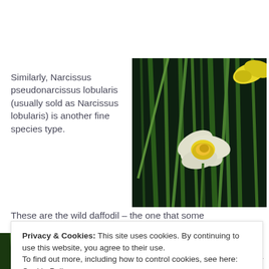[Figure (photo): Photo of a yellow and white daffodil (Narcissus) blooming among green grass/foliage against a dark background]
Similarly, Narcissus pseudonarcissus lobularis (usually sold as Narcissus lobularis) is another fine species type.
These are the wild daffodil – the one that some
Privacy & Cookies: This site uses cookies. By continuing to use this website, you agree to their use.
To find out more, including how to control cookies, see here:
Cookie Policy
Close and accept
[Figure (photo): Partial photo at bottom left, green foliage/daffodil leaves]
This is the lovely